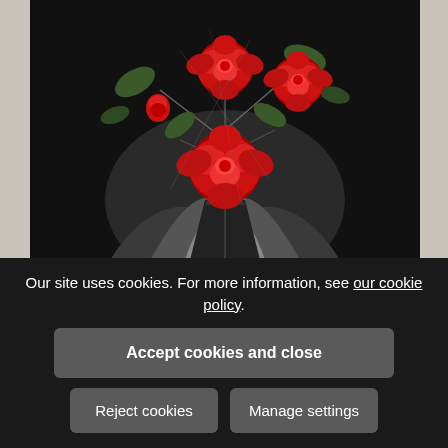[Figure (photo): A painting of three large red roses in a vase against a dark black and grey background with green leaves. The vase is dark and triangular at the bottom. The roses are vibrant red and the background has swirling grey and black brushstrokes.]
Our site uses cookies. For more information, see our cookie policy.
Accept cookies and close
Reject cookies
Manage settings